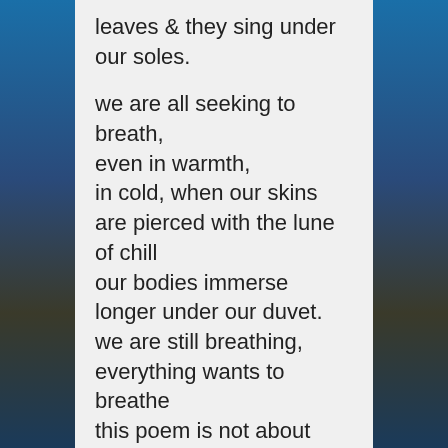leaves & they sing under our soles.

we are all seeking to breath, even in warmth,
in cold, when our skins are pierced with the lune of chill our bodies immerse longer under our duvet.
we are still breathing,
everything wants to breathe
this poem is not about misery, bliss or nostalgia;
it is about you, it is about [the] poem--- breathing.